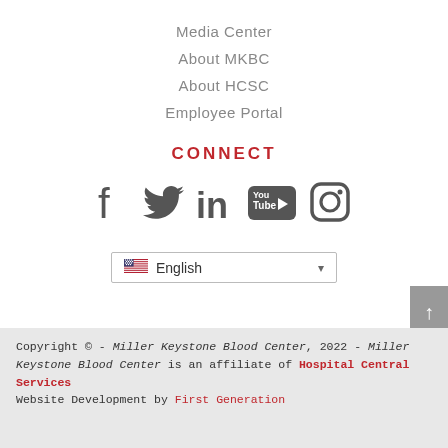Media Center
About MKBC
About HCSC
Employee Portal
CONNECT
[Figure (infographic): Social media icons: Facebook, Twitter, LinkedIn, YouTube, Instagram]
[Figure (screenshot): Language selector dropdown showing English with US flag]
Copyright © - Miller Keystone Blood Center, 2022 - Miller Keystone Blood Center is an affiliate of Hospital Central Services
Website Development by First Generation